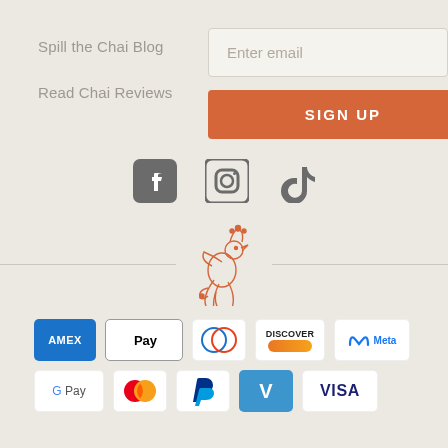Spill the Chai Blog
Read Chai Reviews
[Figure (screenshot): Email newsletter signup form with 'Enter email' input field and orange 'SIGN UP' button]
[Figure (illustration): Social media icons: Facebook, Instagram, TikTok]
[Figure (logo): Decorative peacock/bird logo in orange line art]
[Figure (infographic): Payment method badges: Amex, Apple Pay, Diners Club, Discover, Meta Pay, Google Pay, Mastercard, PayPal, Venmo, Visa]